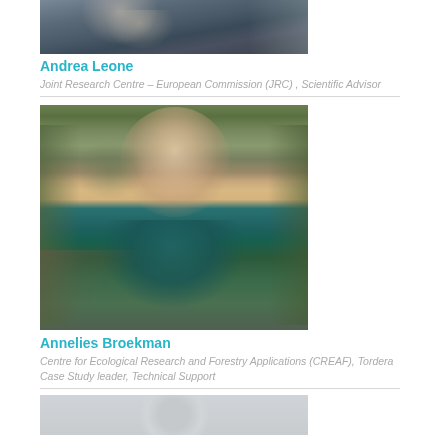[Figure (photo): Partial photo of Andrea Leone, showing upper body with dark jacket and grey scarf, outdoors]
Andrea Leone
Joint Research Centre – European Commission (JRC) , Scientific Advisor
[Figure (photo): Photo of Annelies Broekman, a smiling woman with curly brown hair and a teal knitted scarf, outdoors near a stream with green foliage in background]
Annelies Broekman
Centre for Ecological Research and Forestry Applications (CREAF), Tordera Case Study leader, Technical Support
[Figure (photo): Partial photo of a third person, showing top of head with light background, appears to be a placeholder style gray image]